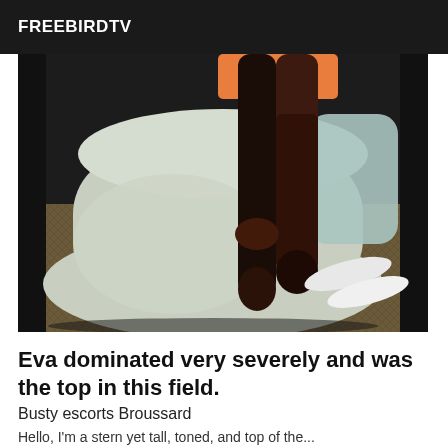FREEBIRDTV
[Figure (photo): Close-up photo of a person's legs wearing dark stockings, posed on a light-colored chair or ottoman, with flip-flops visible in the background on a patterned surface.]
Eva dominated very severely and was the top in this field.
Busty escorts Broussard
Hello, I'm a stern yet tall, toned, and top of the...